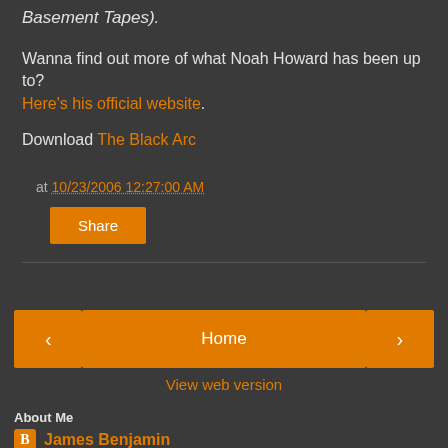Basement Tapes).
Wanna find out more of what Noah Howard has been up to? Here's his official website.
Download The Black Arc
at 10/23/2006 12:27:00 AM
Share
Home
View web version
About Me
James Benjamin
View my complete profile